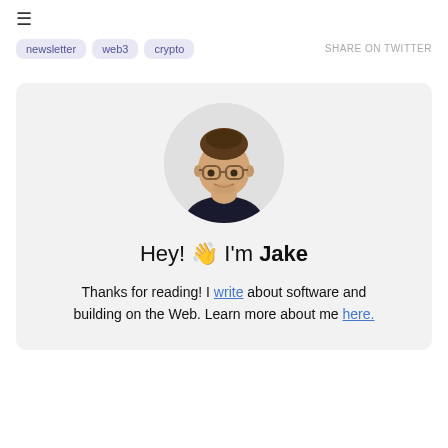≡
newsletter
web3
crypto
SHARE ON TWITTER
[Figure (photo): Circular profile photo of a young man with glasses and dark hair wearing a black t-shirt, looking upward and smiling slightly.]
Hey! 👋 I'm Jake
Thanks for reading! I write about software and building on the Web. Learn more about me here.